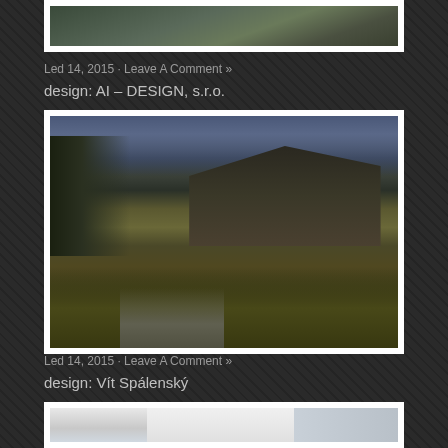[Figure (photo): Architectural rendering of a building exterior, partially visible at top of page]
Led 14, 2015 · Leave A Comment »
design: AI – DESIGN, s.r.o.
[Figure (photo): Architectural rendering of a modern rural house with dark roof, wooden facade, stone pathway, and tall grass at dusk]
Led 14, 2015 · Leave A Comment »
design: Vít Spálenský
[Figure (photo): Architectural rendering of a white minimalist building facade, partially visible at bottom of page]